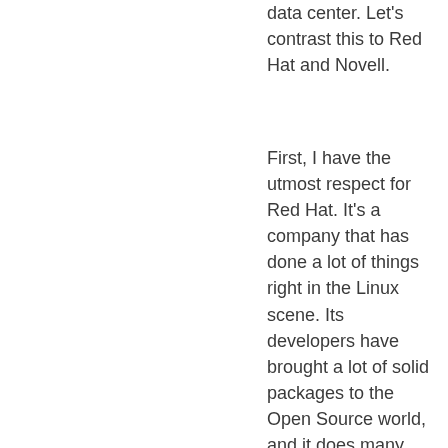data center. Let's contrast this to Red Hat and Novell.
First, I have the utmost respect for Red Hat. It's a company that has done a lot of things right in the Linux scene. Its developers have brought a lot of solid packages to the Open Source world, and it does many things correct, like run levels and system-config-*. However, you want an "enterprise" (I hate that word) distro for your data center? Better get Red Hat Enterprise